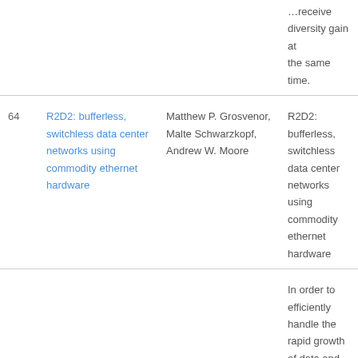| # | Title | Authors | Description |
| --- | --- | --- | --- |
|  |  |  | …receive diversity gain at the same time. |
| 64 | R2D2: bufferless, switchless data center networks using commodity ethernet hardware | Matthew P. Grosvenor, Malte Schwarzkopf, Andrew W. Moore | R2D2: bufferless, switchless data center networks using commodity ethernet hardware |
| 65 | Smart in-network deduplication for storage-aware SDN | Yu Hua, Xue Liu, Dan Feng | In order to efficiently handle the rapid growth of data and reduce the overhead of network transmission, we propose an in-network deduplication for storage-aware Software Defined Network (SDN), called |